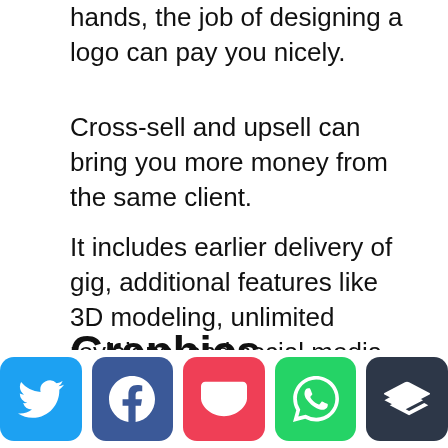hands, the job of designing a logo can pay you nicely.
Cross-sell and upsell can bring you more money from the same client.
It includes earlier delivery of gig, additional features like 3D modeling, unlimited revisions, and social media kit.
Graphics Designer
[Figure (infographic): Social sharing buttons row: Twitter (blue), Facebook (dark blue), Pocket (red), WhatsApp (green), Buffer (dark gray)]